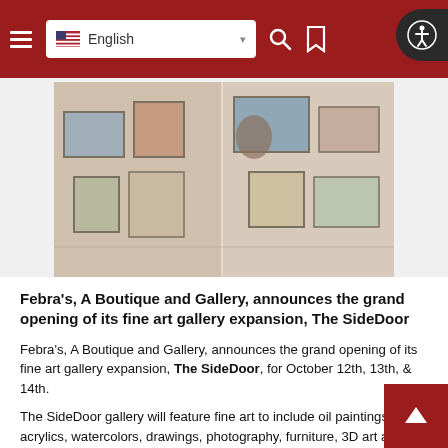English
[Figure (photo): Interior of an art gallery showing paintings and artwork hung on white walls, framed photographs, sculptures, and gallery furniture.]
Febra's, A Boutique and Gallery, announces the grand opening of its fine art gallery expansion, The SideDoor
Febra's, A Boutique and Gallery, announces the grand opening of its fine art gallery expansion, The SideDoor, for October 12th, 13th, & 14th.
The SideDoor gallery will feature fine art to include oil paintings, acrylics, watercolors, drawings, photography, furniture, 3D art and jewelry by over 40 local and regional artists. All are welcome to attend the reception on October 12 from 5 to 7 p.m., where door prizes and refreshments will be offered.